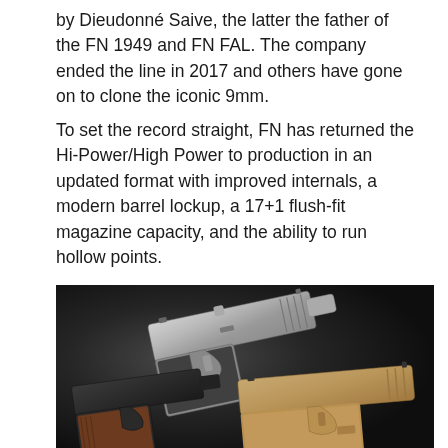by Dieudonne Saive, the latter the father of the FN 1949 and FN FAL. The company ended the line in 2017 and others have gone on to clone the iconic 9mm.
To set the record straight, FN has returned the Hi-Power/High Power to production in an updated format with improved internals, a modern barrel lockup, a 17+1 flush-fit magazine capacity, and the ability to run hollow points.
[Figure (photo): Three pistols (FN Hi-Power variants) laid on a dark granite/slate surface. Top center: a silver/chrome finished pistol. Bottom left: a black pistol with wooden grips. Bottom right: a tan/FDE finished pistol.]